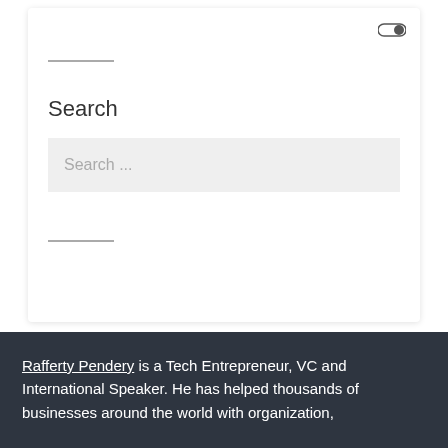Search
Search ...
Rafferty Pendery is a Tech Entrepreneur, VC and International Speaker. He has helped thousands of businesses around the world with organization,